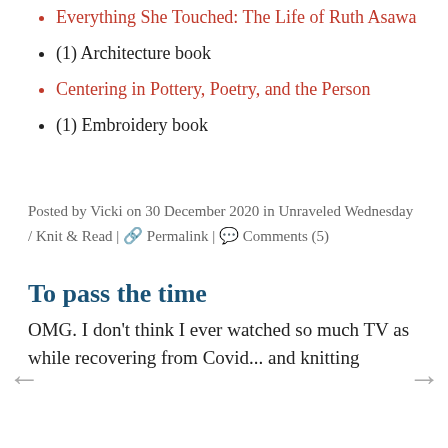Everything She Touched: The Life of Ruth Asawa
(1) Architecture book
Centering in Pottery, Poetry, and the Person
(1) Embroidery book
Posted by Vicki on 30 December 2020 in Unraveled Wednesday / Knit & Read | 🔗 Permalink | 💬 Comments (5)
To pass the time
OMG. I don't think I ever watched so much TV as while recovering from Covid... and knitting